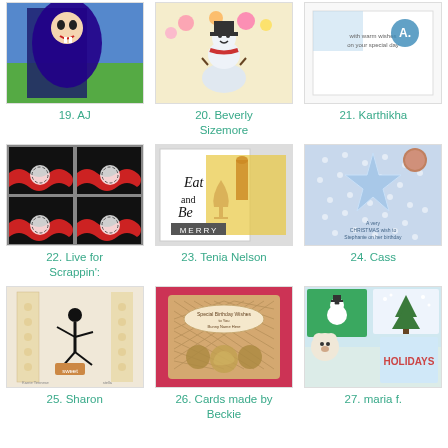[Figure (photo): Card craft image #19 - cartoon vampire character]
19. AJ
[Figure (photo): Card craft image #20 - snowman scene with flowers]
20. Beverly Sizemore
[Figure (photo): Card craft image #21 - white card with monogram]
21. Karthikha
[Figure (photo): Card craft image #22 - black and red scrapbook card]
22. Live for Scrappin':
[Figure (photo): Card craft image #23 - eat and be merry card]
23. Tenia Nelson
[Figure (photo): Card craft image #24 - blue star Christmas card]
24. Cass
[Figure (photo): Card craft image #25 - dancer silhouette card]
25. Sharon
[Figure (photo): Card craft image #26 - pink birthday wishes card]
26. Cards made by Beckie
[Figure (photo): Card craft image #27 - holiday scene collage]
27. maria f.